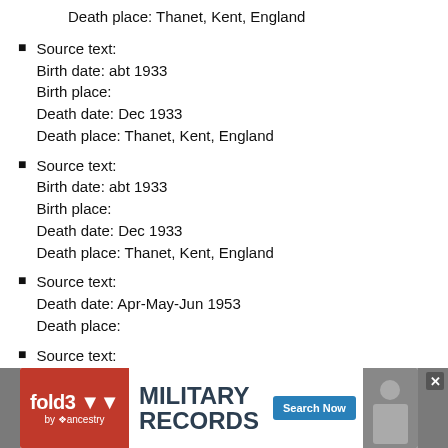Death place: Thanet, Kent, England
Source text:
Birth date: abt 1933
Birth place:
Death date: Dec 1933
Death place: Thanet, Kent, England
Source text:
Birth date: abt 1933
Birth place:
Death date: Dec 1933
Death place: Thanet, Kent, England
Source text:
Death date: Apr-May-Jun 1953
Death place:
Source text:
Death date: Apr-May-Jun 1953
Death place:
Source text:
Birth date: 16 May 1912
Birth place:
Death date: 1981
Death place:
[Figure (infographic): Advertisement banner for fold3 Military Records by Ancestry with Search Now button]